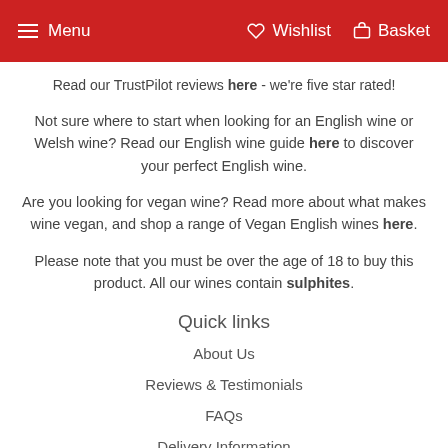Menu   Wishlist   Basket
Read our TrustPilot reviews here - we're five star rated!
Not sure where to start when looking for an English wine or Welsh wine? Read our English wine guide here to discover your perfect English wine.
Are you looking for vegan wine? Read more about what makes wine vegan, and shop a range of Vegan English wines here.
Please note that you must be over the age of 18 to buy this product. All our wines contain sulphites.
Quick links
About Us
Reviews & Testimonials
FAQs
Delivery Information
English Wine Subscription